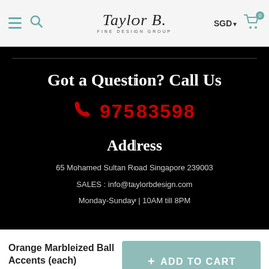Taylor B. Fine Design Group | SGD | Cart 0
Got a Question? Call Us
97583598
Address
65 Mohamed Sultan Road Singapore 239003
SALES : info@taylorbdesign.com
Monday-Sunday | 10AM till 8PM
Orange Marbleized Ball Accents (each)
S$9.00
+ ADD TO CART